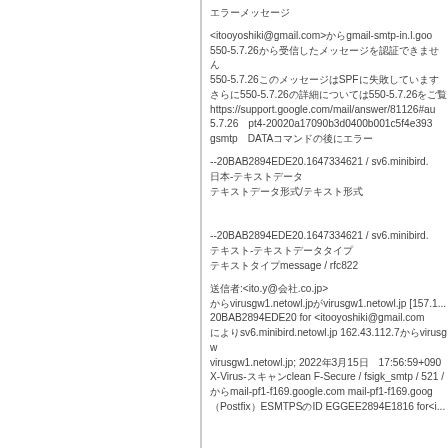エラーメッセージ
<itooyoshiki@gmail.com>からgmail-smtp-in.l.goo 550-5.7.26（日本語テキストが続く） 550-5.7.26（日本語テキストが続く） さらに550-5.7.26（テキスト）550-5.7.26（テキスト） https://support.google.com/mail/answer/81126#au 5.7.26　pt4-20020a17090b3d0400b001c5f4e393... gsmtp　DATAコマンドの後にエラー
--20BAB2894EDE20.1647334621 / sv6.minibird. 日本-テキストデータ テキストデータ形式/テキスト形式
--20BAB2894EDE20.1647334621 / sv6.minibird. テキスト-テキストデータタイプ テキストタイプmessage / rfc822
送信者:<ito.y@会社.co.jp> からvirusgw1.netowl.jpがvirusgw1.netowl.jp [157.1... 20BAB2894EDE20 for <itooyoshiki@gmail.com によりsv6.minibird.netowl.jp 162.43.112.7からvirusgw virusgw1.netowl.jp; 2022年3月15日　17:56:59+090 X-Virus-スキャンclean F-Secure / fsigk_smtp / 521 / からmail-pf1-f169.google.com mail-pf1-f169.goog （Postfix）ESMTPSのID EGGEE2894E1816 for<i...